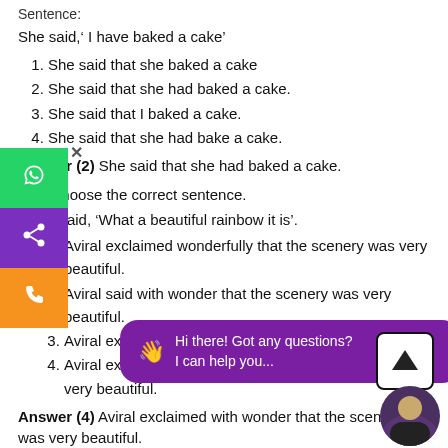Sentence:
She said,' I have baked a cake'
1. She said that she baked a cake
2. She said that she had baked a cake.
3. She said that I baked a cake.
4. She said that she had bake a cake.
Answer (2) She said that she had baked a cake.
Q.2. Choose the correct sentence.
Aviral said, 'What a beautiful rainbow it is'.
1. Aviral exclaimed wonderfully that the scenery was very beautiful.
2. Aviral said with wonder that the scenery was very beautiful.
3. Aviral exclaimed with [partially obscured] beautiful.
4. Aviral exclaimed with wonder that the scenery was very beautiful.
Answer (4) Aviral exclaimed with wonder that the scenery was very beautiful.